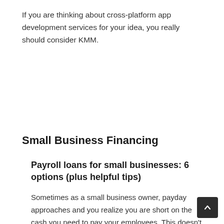If you are thinking about cross-platform app development services for your idea, you really should consider KMM.
Small Business Financing
Payroll loans for small businesses: 6 options (plus helpful tips)
Sometimes as a small business owner, payday approaches and you realize you are short on the cash you need to pay your employees. This doesn't automatically mean your